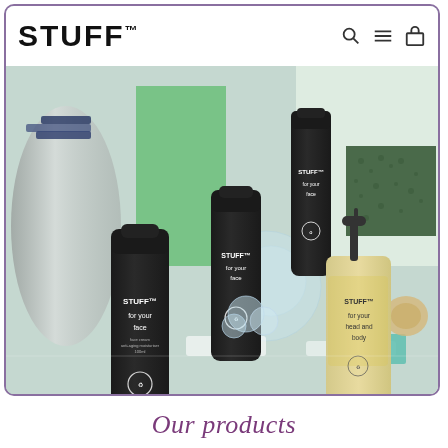[Figure (screenshot): Website screenshot showing STUFF brand grooming products - three dark tubes labeled 'STUFF for your face' and one light bottle labeled 'STUFF for your head and body', displayed against a green and white abstract background with decorative props. Navigation bar shows STUFF logo with search, menu, and cart icons.]
Our products